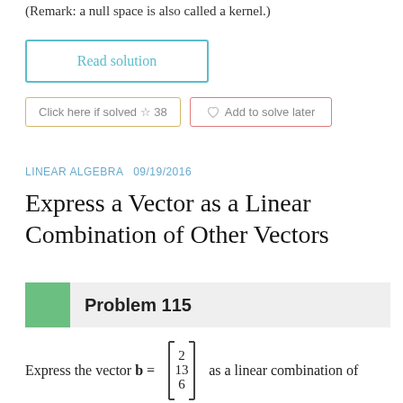(Remark: a null space is also called a kernel.)
Read solution
Click here if solved ☆ 38
♡ Add to solve later
LINEAR ALGEBRA  09/19/2016
Express a Vector as a Linear Combination of Other Vectors
Problem 115
Express the vector b = [2, 13, 6] as a linear combination of